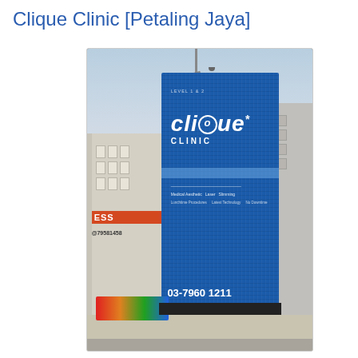Clique Clinic [Petaling Jaya]
[Figure (photo): Exterior photo of Clique Clinic building in Petaling Jaya. The building facade features a large blue textured panel with the Clique Clinic logo, phone number 03-7960 1211, and website www.cliqueclinic.com. Adjacent buildings visible including one with a sign showing '79581458'. Street-level view.]